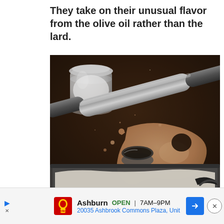They take on their unusual flavor from the olive oil rather than the lard.
[Figure (photo): Cookie dough being cut with a round cutter on a dark baking sheet. A metal rolling pin, a glass jar with white contents, and a baking tray with parchment paper are visible on a dark surface.]
Ashburn OPEN 7AM–9PM 20035 Ashbrook Commons Plaza, Unit